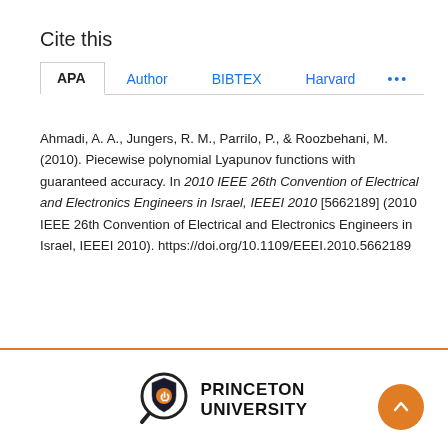Cite this
APA  Author  BIBTEX  Harvard  ...
Ahmadi, A. A., Jungers, R. M., Parrilo, P., & Roozbehani, M. (2010). Piecewise polynomial Lyapunov functions with guaranteed accuracy. In 2010 IEEE 26th Convention of Electrical and Electronics Engineers in Israel, IEEEI 2010 [5662189] (2010 IEEE 26th Convention of Electrical and Electronics Engineers in Israel, IEEEI 2010). https://doi.org/10.1109/EEEI.2010.5662189
[Figure (logo): Princeton University logo with magnifying glass and shield icon, and scroll-to-top orange button]